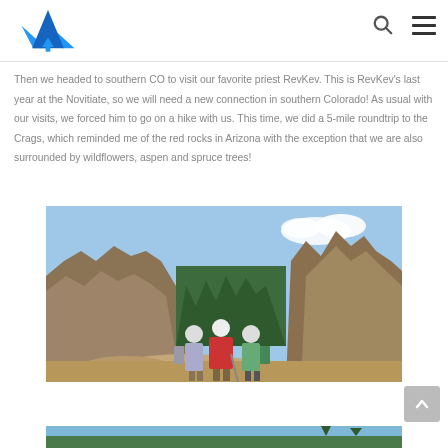Mountain hiking blog header with logo and navigation icons
Then we headed to southern CO to visit our favorite priest RevKev. This is RevKev's last year at the Novitiate, so we will need a new connection in southern Colorado! As usual with our visits, we forced him to go on a hike with us. This time, we did a 5-mile roundtrip to the Crags, which reminded me of the red rocks in Arizona with the exception that we are also surrounded by wildflowers, aspen and spruce trees!
[Figure (photo): Three hikers posing on rocky terrain with large rock formations and evergreen trees in the background at the Crags, southern Colorado]
[Figure (photo): Partial view of another hiking photo at the bottom of the page]